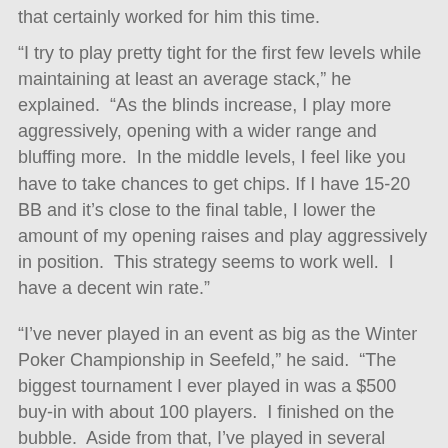that certainly worked for him this time.
“I try to play pretty tight for the first few levels while maintaining at least an average stack,” he explained.  “As the blinds increase, I play more aggressively, opening with a wider range and bluffing more.  In the middle levels, I feel like you have to take chances to get chips. If I have 15-20 BB and it’s close to the final table, I lower the amount of my opening raises and play aggressively in position.  This strategy seems to work well.  I have a decent win rate.”
“I’ve never played in an event as big as the Winter Poker Championship in Seefeld,” he said.  “The biggest tournament I ever played in was a $500 buy-in with about 100 players.  I finished on the bubble.  Aside from that, I’ve played in several small tournaments in Las Vegas, Palm Springs and Commerce Casino in Los Angeles.”
Douglas will have his wife with him for moral support, and O’Keefe will be there to help him get the lay of the land.